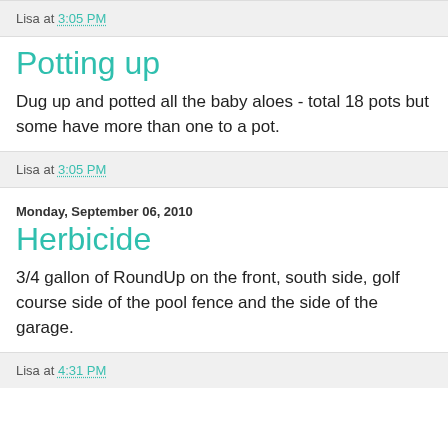Lisa at 3:05 PM
Potting up
Dug up and potted all the baby aloes - total 18 pots but some have more than one to a pot.
Lisa at 3:05 PM
Monday, September 06, 2010
Herbicide
3/4 gallon of RoundUp on the front, south side, golf course side of the pool fence and the side of the garage.
Lisa at 4:31 PM